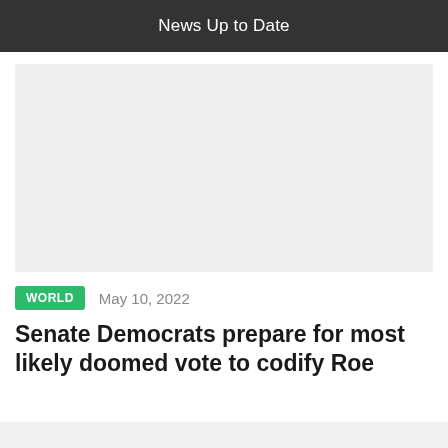News Up to Date
[Figure (photo): Large image placeholder with light grey background]
WORLD   May 10, 2022
Senate Democrats prepare for most likely doomed vote to codify Roe